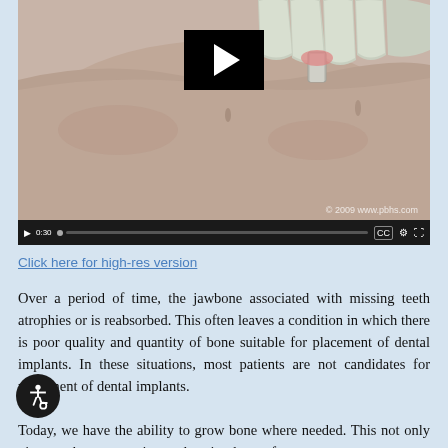[Figure (screenshot): Video thumbnail showing a 3D animation of dental implant procedure, with a black play button overlay in the center. Video controls bar at the bottom shows play button, 0:30 timestamp, progress bar, CC, settings, and fullscreen icons. Copyright watermark '© 2009 www.pbhs.com' visible in lower right of thumbnail.]
Click here for high-res version
Over a period of time, the jawbone associated with missing teeth atrophies or is reabsorbed. This often leaves a condition in which there is poor quality and quantity of bone suitable for placement of dental implants. In these situations, most patients are not candidates for placement of dental implants. Today, we have the ability to grow bone where needed. This not only gives us the opportunity to place implants of...